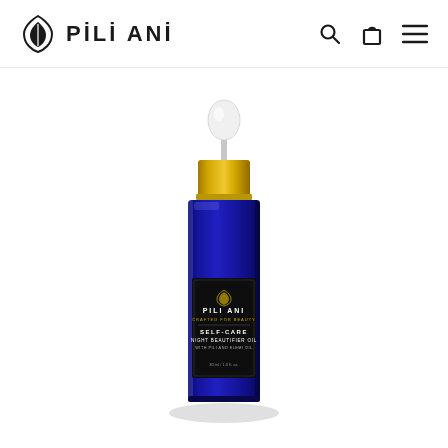PILI ANI
[Figure (photo): A small square dark blue glass dropper bottle with a gold metallic cap and white rubber dropper top. The bottle label reads PILI ANI CRAFTED FOR BEAUTY SELF-CARE NIGHT BEAUTIFIER OIL WITH PILI AND ELEMI OIL. The bottle sits on a white background with a soft shadow.]